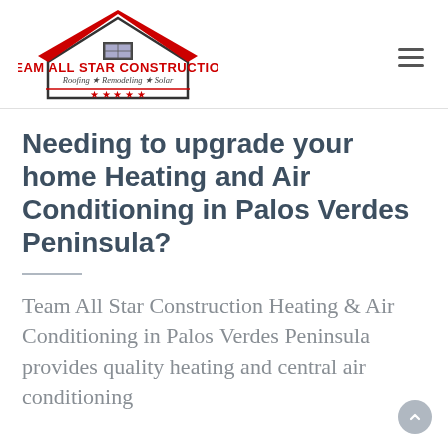Team All Star Construction — Roofing ★ Remodeling ★ Solar
Needing to upgrade your home Heating and Air Conditioning in Palos Verdes Peninsula?
Team All Star Construction Heating & Air Conditioning in Palos Verdes Peninsula provides quality heating and central air conditioning